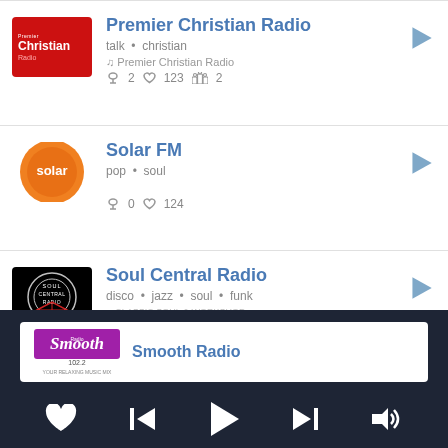[Figure (screenshot): Radio app interface showing list of radio stations with logos, names, tags, and play buttons, plus a now-playing bar at the bottom]
Premier Christian Radio — talk • christian — ♫ Premier Christian Radio — 🎧 2  ♥ 123  👥 2
Solar FM — pop • soul — 🎧 0  ♥ 124
Soul Central Radio — disco • jazz • soul • funk
Smooth Radio